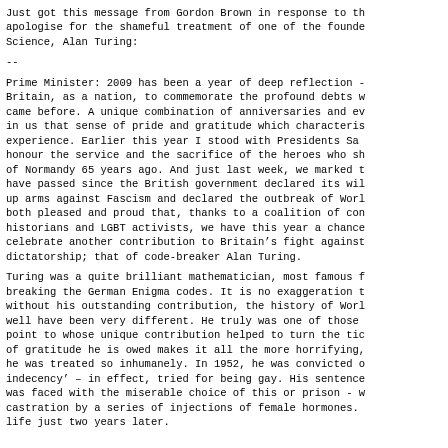Just got this message from Gordon Brown in response to the petition to apologise for the shameful treatment of one of the founders of Computer Science, Alan Turing:
--
Prime Minister: 2009 has been a year of deep reflection - a chance for Britain, as a nation, to commemorate the profound debts we owe to those who came before. A unique combination of anniversaries and events have stirred in us that sense of pride and gratitude which characterises the British experience. Earlier this year I stood with Presidents Sarkozy and Obama to honour the service and the sacrifice of the heroes who stormed the beaches of Normandy 65 years ago. And just last week, we marked the 70 years that have passed since the British government declared its willingness to take up arms against Fascism and declared the outbreak of World War Two. I am both pleased and proud that, thanks to a coalition of computer scientists, historians and LGBT activists, we have this year a chance to mark and celebrate another contribution to Britain's fight against the forces of dictatorship; that of code-breaker Alan Turing.
Turing was a quite brilliant mathematician, most famous for his work on breaking the German Enigma codes. It is no exaggeration to say that, without his outstanding contribution, the history of World War Two could well have been very different. He truly was one of those individuals we can point to whose unique contribution helped to turn the tide of war. The debt of gratitude he is owed makes it all the more horrifying, therefore, that he was treated so inhumanely. In 1952, he was convicted of 'gross indecency' – in effect, tried for being gay. His sentence – and he was faced with the miserable choice of this or prison - was chemical castration by a series of injections of female hormones. He died just two years later.